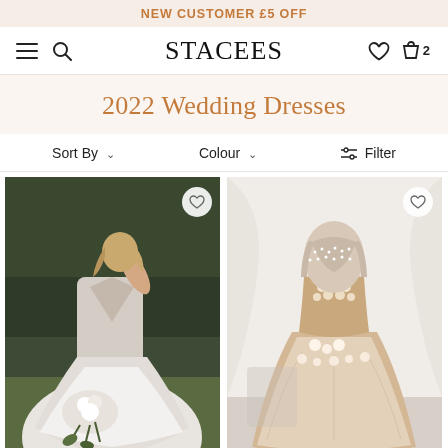NEW CUSTOMER £5 OFF
STACEES
2022 Wedding Dresses
Sort By   Colour   Filter
[Figure (photo): Woman wearing a white/ivory deep V-neck A-line wedding dress holding a bouquet of flowers outdoors]
[Figure (photo): Mannequin wearing a champagne/ivory A-line wedding dress with floral lace embellishments on a white background]